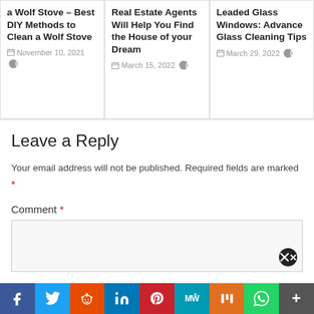a Wolf Stove – Best DIY Methods to Clean a Wolf Stove
November 10, 2021  0
Real Estate Agents Will Help You Find the House of your Dream
March 15, 2022  0
Leaded Glass Windows: Advance Glass Cleaning Tips
March 29, 2022  0
Leave a Reply
Your email address will not be published. Required fields are marked *
Comment *